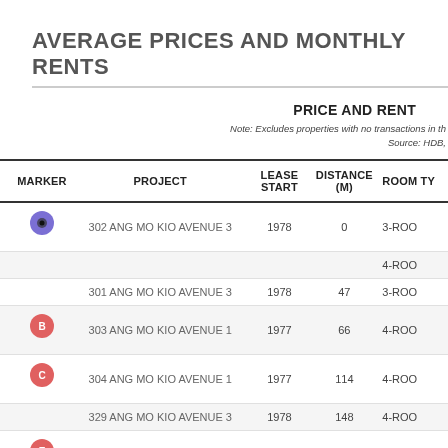AVERAGE PRICES AND MONTHLY RENTS
PRICE AND RENT
Note: Excludes properties with no transactions in th...
Source: HDB,
| MARKER | PROJECT | LEASE START | DISTANCE (M) | ROOM TY(PE) |
| --- | --- | --- | --- | --- |
| A | 302 ANG MO KIO AVENUE 3 | 1978 | 0 | 3-ROO |
|  |  |  |  | 4-ROO |
|  | 301 ANG MO KIO AVENUE 3 | 1978 | 47 | 3-ROO |
| B | 303 ANG MO KIO AVENUE 1 | 1977 | 66 | 4-ROO |
| C | 304 ANG MO KIO AVENUE 1 | 1977 | 114 | 4-ROO |
|  | 329 ANG MO KIO AVENUE 3 | 1978 | 148 | 4-ROO |
| E | 327 ANG MO KIO AVENUE 3 | 1977 | 148 | 4-ROO |
| F | 325 ANG MO KIO AVENUE 3 | 1978 | 165 | 4-ROO |
|  | 307C ANG MO KIO AVENUE 1 | 2012 | 177 | 4-ROO |